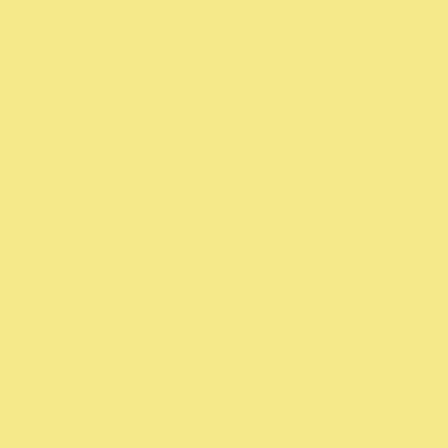Your recasting of #2 is not the way (and cameras of this type and price decide on a print size they want and
pax / Ctein
================================
-- Ctein's Online Gallery http://ctein...
-- Digital Restorations http://photo-r...
================================
Posted by: ctein | Friday, 17 February 2012 at 07:39 P
I think we will just have to agree to d
Simon
Posted by: Simon Crofts | Tuesday, 21 February 2012
Ctein, I read your article that explore and how that might define "perfect" commentators for that article referen